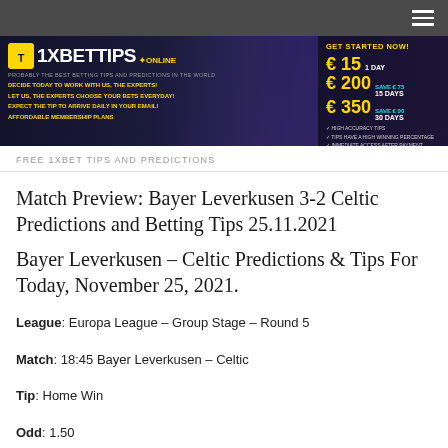[Figure (illustration): 1XBET TIPS ONLINE banner advertisement with football players (Mbappe, Ronaldo, Messi) and pricing plans: €15 1 day, €200 15 days, €350 30 days. GET STARTED NOW!]
FREE 1XBET TIPS AND PREDICTIONS
Match Preview: Bayer Leverkusen 3-2 Celtic Predictions and Betting Tips 25.11.2021
Bayer Leverkusen – Celtic Predictions & Tips For Today, November 25, 2021.
League: Europa League – Group Stage – Round 5
Match: 18:45 Bayer Leverkusen – Celtic
Tip: Home Win
Odd: 1.50
Bookmaker: Bet365